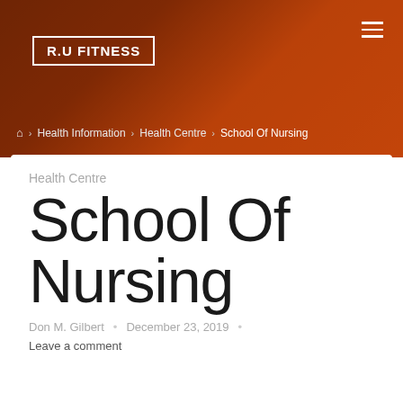R.U FITNESS
⌂ > Health Information > Health Centre > School Of Nursing
Health Centre
School Of Nursing
Don M. Gilbert • December 23, 2019 •
Leave a comment